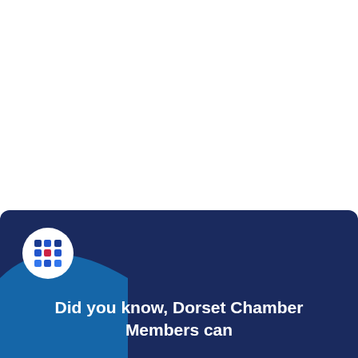[Figure (infographic): Dark navy blue banner with Dorset Chamber logo (white circle with colorful dot grid) in upper left, a blue curved shape in lower left corner, and bold white text at bottom reading 'Did you know, Dorset Chamber Members can']
Did you know, Dorset Chamber Members can